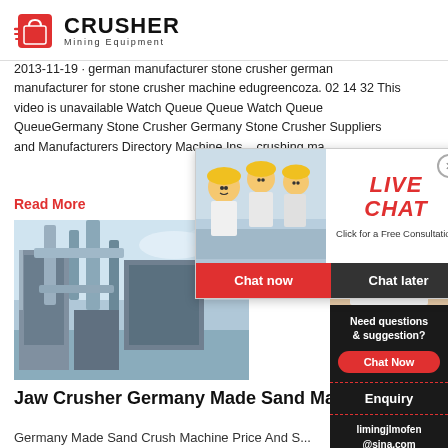CRUSHER Mining Equipment
2013-11-19 · german manufacturer stone crusher german manufacturer for stone crusher machine edugreencoza. 02 14 32 This video is unavailable Watch Queue Queue Watch Queue QueueGermany Stone Crusher Germany Stone Crusher Suppliers and Manufacturers Directory Machine Ins... crushing ma...
Read More
[Figure (photo): Industrial machinery/crusher equipment photo]
[Figure (screenshot): Live Chat popup overlay with workers in hard hats, LIVE CHAT heading, Click for a Free Consultation, Chat now and Chat later buttons]
[Figure (infographic): Right sidebar: 24Hrs Online, customer service agent with headset, Need questions & suggestion? Chat Now, Enquiry, limingjlmofen@sina.com]
Jaw Crusher Germany Made Sand Machine Price
Germany Made Sand Crush Machine Price And S...